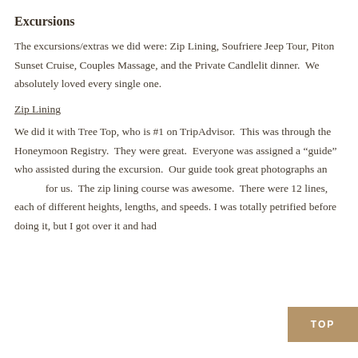Excursions
The excursions/extras we did were: Zip Lining, Soufriere Jeep Tour, Piton Sunset Cruise, Couples Massage, and the Private Candlelit dinner.  We absolutely loved every single one.
Zip Lining
We did it with Tree Top, who is #1 on TripAdvisor.  This was through the Honeymoon Registry.  They were great.  Everyone was assigned a “guide” who assisted during the excursion.  Our guide took great photographs and for us.  The zip lining course was awesome.  There were 12 lines, each of different heights, lengths, and speeds. I was totally petrified before doing it, but I got over it and had